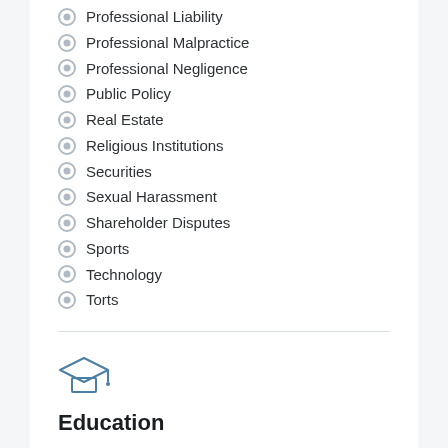Professional Liability
Professional Malpractice
Professional Negligence
Public Policy
Real Estate
Religious Institutions
Securities
Sexual Harassment
Shareholder Disputes
Sports
Technology
Torts
Education
Mrs. Roberts is an attorney and has been a mediator in Tennessee for over fifteen years. Listed as a Rule 31 Civil Mediator with the Tennessee Supreme Court, Roberts provides commercial, construction & employment